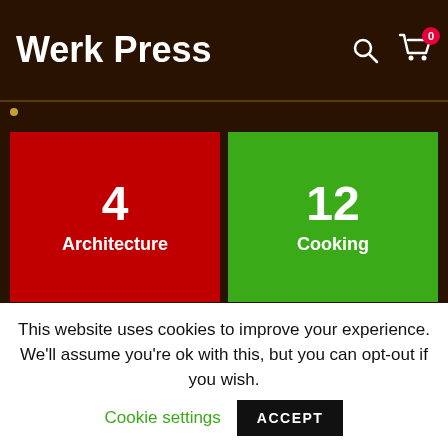Werk Press
[Figure (infographic): Category tiles grid: Architecture (4), Cooking (12), cyan tile (6), blue tile (10)]
This website uses cookies to improve your experience. We'll assume you're ok with this, but you can opt-out if you wish.
Cookie settings  ACCEPT